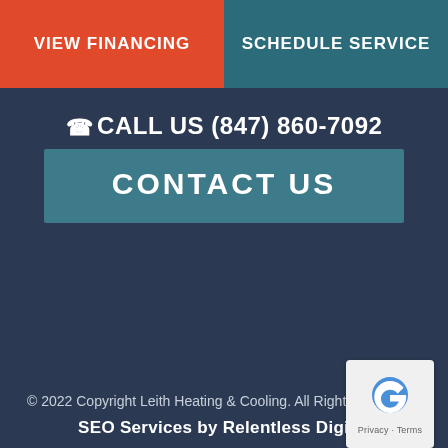VIEW FINANCING
SCHEDULE SERVICE
☎ CALL US (847) 860-7092
CONTACT US
© 2022 Copyright Leith Heating & Cooling. All Rights Reserved.
SEO Services by Relentless Digital
[Figure (logo): reCAPTCHA badge with blue circular arrow icon and Privacy · Terms text]